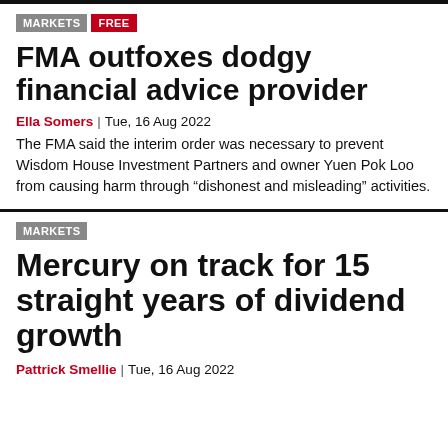MARKETS  FREE
FMA outfoxes dodgy financial advice provider
Ella Somers | Tue, 16 Aug 2022
The FMA said the interim order was necessary to prevent Wisdom House Investment Partners and owner Yuen Pok Loo from causing harm through “dishonest and misleading” activities.
MARKETS
Mercury on track for 15 straight years of dividend growth
Pattrick Smellie | Tue, 16 Aug 2022